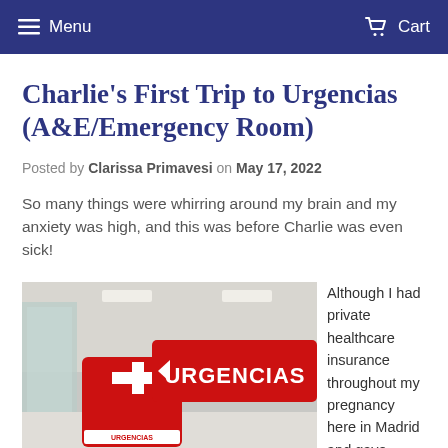Menu   Cart
Charlie's First Trip to Urgencias (A&E/Emergency Room)
Posted by Clarissa Primavesi on May 17, 2022
So many things were whirring around my brain and my anxiety was high, and this was before Charlie was even sick!
[Figure (photo): Photo of red URGENCIAS (emergency) sign with white cross and red directional banner reading URGENCIAS, mounted in a hospital corridor.]
Although I had private healthcare insurance throughout my pregnancy here in Madrid and gave